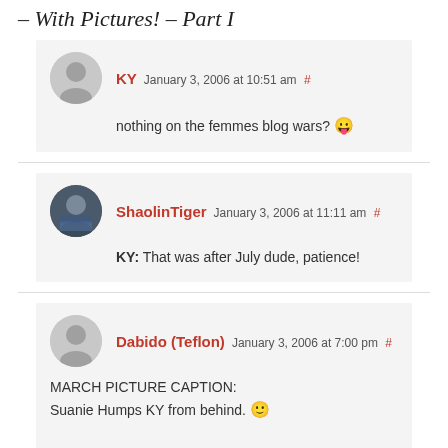– With Pictures! – Part I
KY January 3, 2006 at 10:51 am #
nothing on the femmes blog wars? 😛
ShaolinTiger January 3, 2006 at 11:11 am #
KY: That was after July dude, patience!
Dabido (Teflon) January 3, 2006 at 7:00 pm #
MARCH PICTURE CAPTION:
Suanie Humps KY from behind. 🙂
*runs*
I noticed something about that picture too — but will need to